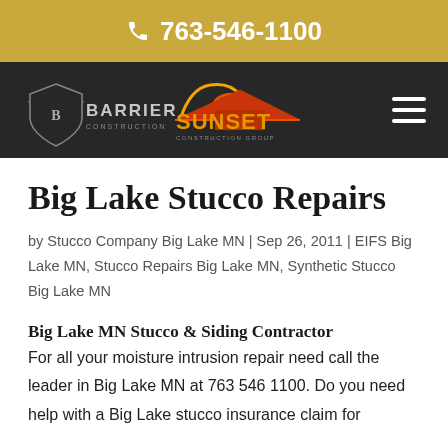763-546-1100
[Figure (logo): Barrier Construction and Sunset Construction Group logos side by side on dark navigation bar with hamburger menu icon]
Big Lake Stucco Repairs
by Stucco Company Big Lake MN | Sep 26, 2011 | EIFS Big Lake MN, Stucco Repairs Big Lake MN, Synthetic Stucco Big Lake MN
Big Lake MN Stucco & Siding Contractor
For all your moisture intrusion repair need call the leader in Big Lake MN at 763 546 1100. Do you need help with a Big Lake stucco insurance claim for